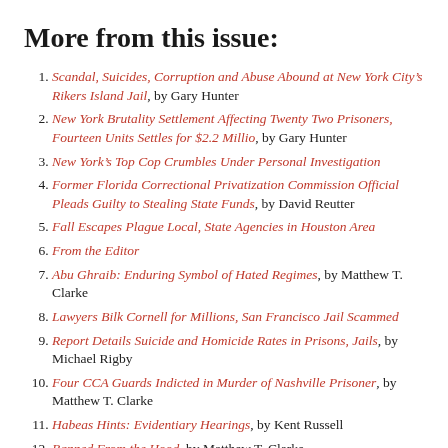More from this issue:
Scandal, Suicides, Corruption and Abuse Abound at New York City’s Rikers Island Jail, by Gary Hunter
New York Brutality Settlement Affecting Twenty Two Prisoners, Fourteen Units Settles for $2.2 Millio, by Gary Hunter
New York’s Top Cop Crumbles Under Personal Investigation
Former Florida Correctional Privatization Commission Official Pleads Guilty to Stealing State Funds, by David Reutter
Fall Escapes Plague Local, State Agencies in Houston Area
From the Editor
Abu Ghraib: Enduring Symbol of Hated Regimes, by Matthew T. Clarke
Lawyers Bilk Cornell for Millions, San Francisco Jail Scammed
Report Details Suicide and Homicide Rates in Prisons, Jails, by Michael Rigby
Four CCA Guards Indicted in Murder of Nashville Prisoner, by Matthew T. Clarke
Habeas Hints: Evidentiary Hearings, by Kent Russell
Banned From the Hood, by Matthew T. Clarke
Nearly 7 Million Under Correctional Supervision In U.S., by Michael Rigby